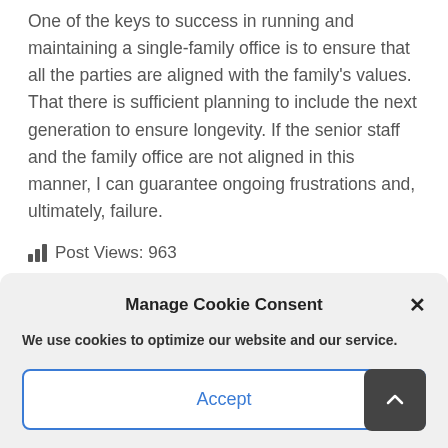One of the keys to success in running and maintaining a single-family office is to ensure that all the parties are aligned with the family's values. That there is sufficient planning to include the next generation to ensure longevity. If the senior staff and the family office are not aligned in this manner, I can guarantee ongoing frustrations and, ultimately, failure.
Post Views: 963
Manage Cookie Consent
We use cookies to optimize our website and our service.
Accept